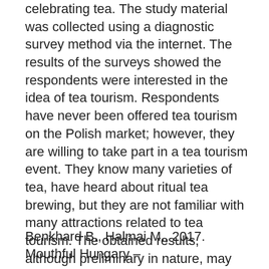celebrating tea. The study material was collected using a diagnostic survey method via the internet. The results of the surveys showed the respondents were interested in the idea of tea tourism. Respondents have never been offered tea tourism on the Polish market; however, they are willing to take part in a tea tourism event. They know many varieties of tea, have heard about ritual tea brewing, but they are not familiar with many attractions related to tea tourism. The obtained results, although preliminary in nature, may imply the plausibility of introducing and disseminating the idea of tea tourism among tea enthusiasts, and indicate a need for further research in this field.
Benkhard B., Halmai M., 2017. Mouthful Hungary –